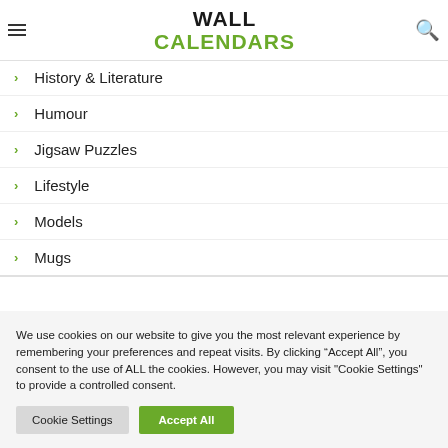WALL CALENDARS
History & Literature
Humour
Jigsaw Puzzles
Lifestyle
Models
Mugs
We use cookies on our website to give you the most relevant experience by remembering your preferences and repeat visits. By clicking “Accept All”, you consent to the use of ALL the cookies. However, you may visit "Cookie Settings" to provide a controlled consent.